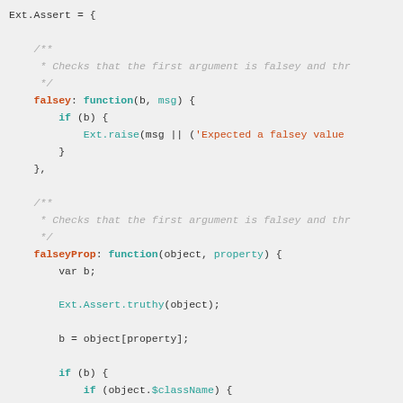Code snippet showing Ext.Assert JavaScript object with falsey and falseyProp methods
[Figure (screenshot): JavaScript source code showing Ext.Assert object with falsey and falseyProp method definitions, including JSDoc comments]